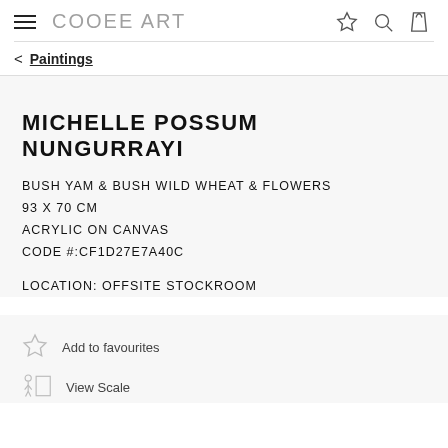COOEE ART
< Paintings
MICHELLE POSSUM NUNGURRAYI
BUSH YAM & BUSH WILD WHEAT & FLOWERS
93 X 70 CM
ACRYLIC ON CANVAS
CODE #:CF1D27E7A40C
LOCATION: OFFSITE STOCKROOM
Add to favourites
View Scale